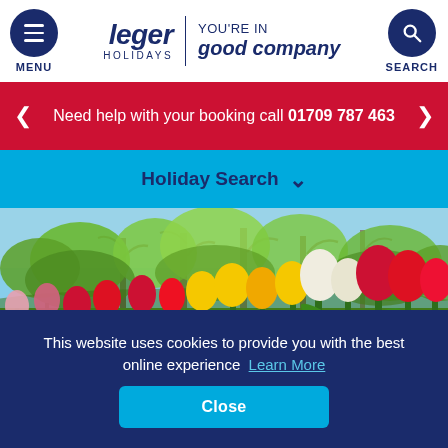MENU | leger HOLIDAYS | YOU'RE IN good company | SEARCH
Need help with your booking call 01709 787 463
Holiday Search
[Figure (photo): Colourful tulips (red, yellow, white, pink) in bloom with green trees and blue sky in the background — a garden scene.]
This website uses cookies to provide you with the best online experience  Learn More
Close